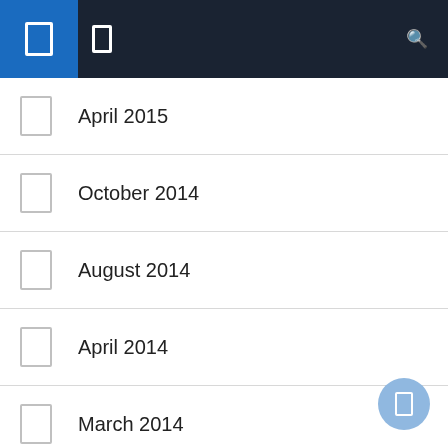Navigation bar with icons
April 2015
October 2014
August 2014
April 2014
March 2014
December 2013
February 2013
December 2012
October 2012